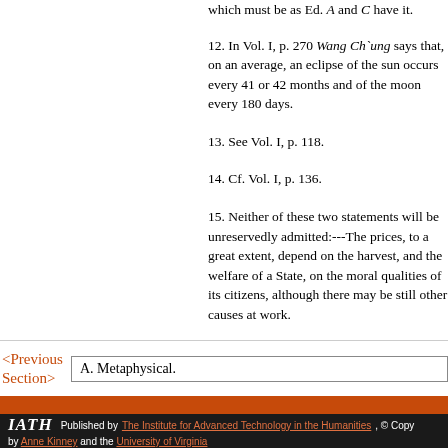which must be as Ed. A and C have it.
12. In Vol. I, p. 270 Wang Ch`ung says that, on an average, an eclipse of the sun occurs every 41 or 42 months and of the moon every 180 days.
13. See Vol. I, p. 118.
14. Cf. Vol. I, p. 136.
15. Neither of these two statements will be unreservedly admitted:---The prices, to a great extent, depend on the harvest, and the welfare of a State, on the moral qualities of its citizens, although there may be still other causes at work.
<Previous Section>  A. Metaphysical.
IATH Published by The Institute for Advanced Technology in the Humanities, © Copy by Anne Kinney and the University of Virginia